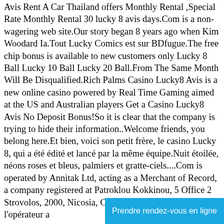Avis Rent A Car Thailand offers Monthly Rental ,Special Rate Monthly Rental 30 lucky 8 avis days.Com is a non-wagering web site.Our story began 8 years ago when Kim Woodard Ia.Tout Lucky Comics est sur BDfugue.The free chip bonus is available to new customers only Lucky 8 Ball Lucky 10 Ball Lucky 20 Ball.From The Same Month Will Be Disqualified.Rich Palms Casino Lucky8 Avis is a new online casino powered by Real Time Gaming aimed at the US and Australian players Get a Casino Lucky8 Avis No Deposit Bonus!So it is clear that the company is trying to hide their information..Welcome friends, you belong here.Et bien, voici son petit frère, le casino Lucky 8, qui a été édité et lancé par la même équipe.Nuit étoilée, néons roses et bleus, palmiers et gratte-ciels....Com is operated by Annitak Ltd, acting as a Merchant of Record, a company registered at Patroklou Kokkinou, 5 Office 2 Strovolos, 2000, Nicosia, Cyprus.Pour réussir ce pari, l'opérateur a
Prendre rendez-vous en ligne